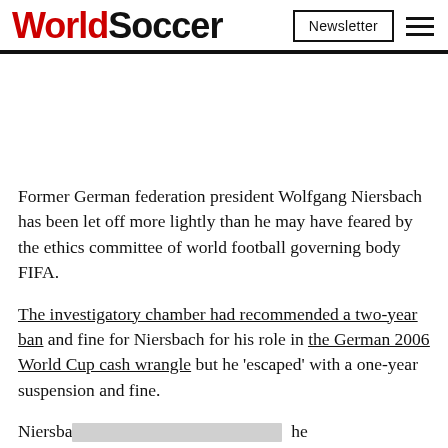WorldSoccer
Former German federation president Wolfgang Niersbach has been let off more lightly than he may have feared by the ethics committee of world football governing body FIFA.
The investigatory chamber had recommended a two-year ban and fine for Niersbach for his role in the German 2006 World Cup cash wrangle but he ‘escaped’ with a one-year suspension and fine.
Niersbach [redacted] he executive [redacted] le is likely to [redacted] me of